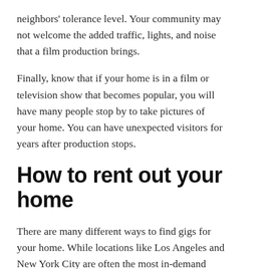neighbors' tolerance level. Your community may not welcome the added traffic, lights, and noise that a film production brings.
Finally, know that if your home is in a film or television show that becomes popular, you will have many people stop by to take pictures of your home. You can have unexpected visitors for years after production stops.
How to rent out your home
There are many different ways to find gigs for your home. While locations like Los Angeles and New York City are often the most in-demand (and command the highest rates), film crews nationwide need homes for their shoots. You can list your home in the following ways: